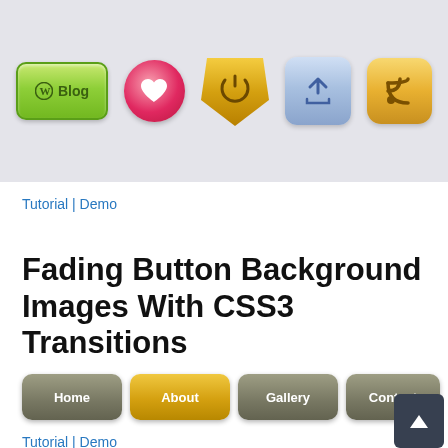[Figure (screenshot): A row of decorative CSS buttons: green Blog button with WordPress icon, pink heart circle button, gold power/shield button, blue upload button, and gold RSS button, on a light gray background.]
Tutorial | Demo
Fading Button Background Images With CSS3 Transitions
[Figure (screenshot): Navigation bar with four buttons: Home (gray), About (gold/active), Gallery (gray), Contact (gray), and a dark back-to-top arrow button at bottom right.]
Tutorial | Demo